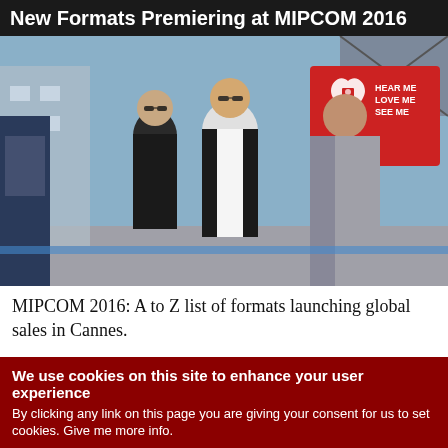New Formats Premiering at MIPCOM 2016
[Figure (photo): Three people walking outdoors at MIPCOM event with a red heart sign visible in background reading HEAR ME LOVE ME SEE ME]
MIPCOM 2016: A to Z list of formats launching global sales in Cannes.
Best TV Formats of 2014
[Figure (photo): Two people in a close romantic scene, partial view of a TV show promotional image]
We use cookies on this site to enhance your user experience
By clicking any link on this page you are giving your consent for us to set cookies. Give me more info.